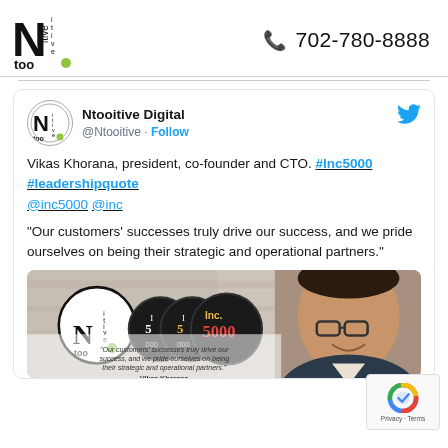[Figure (logo): Ntooitive Digital logo: large N with 'itive' vertically stacked, 'too' with a green dot]
📞 702-780-8888
[Figure (screenshot): Twitter/X embedded tweet card from Ntooitive Digital (@Ntooitive). Tweet text: 'Vikas Khorana, president, co-founder and CTO. #Inc5000 #leadershipquote @inc5000 @inc
"Our customers' successes truly drive our success, and we pride ourselves on being their strategic and operational partners."' with an embedded image showing Vikas Khorana alongside Inc 5000 badges.]